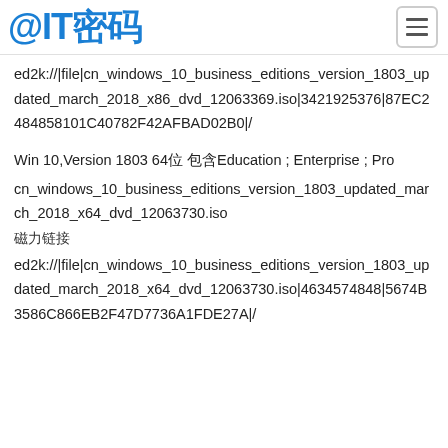@IT密码
ed2k://|file|cn_windows_10_business_editions_version_1803_updated_march_2018_x86_dvd_12063369.iso|3421925376|87EC2484858101C40782F42AFBAD02B0|/
Win 10,Version 1803 64位 包含Education ; Enterprise ; Pro
cn_windows_10_business_editions_version_1803_updated_march_2018_x64_dvd_12063730.iso
磁力链接
ed2k://|file|cn_windows_10_business_editions_version_1803_updated_march_2018_x64_dvd_12063730.iso|4634574848|5674B3586C866EB2F47D7736A1FDE27A|/